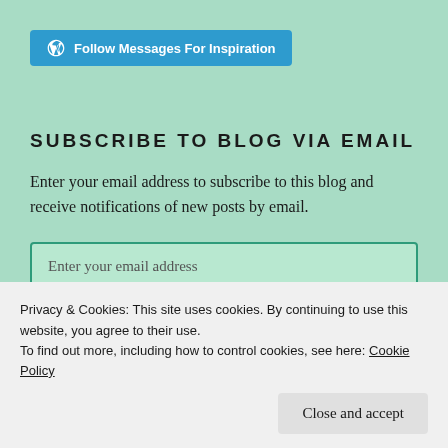[Figure (other): WordPress follow button: blue rounded rectangle with WordPress logo icon and text 'Follow Messages For Inspiration']
SUBSCRIBE TO BLOG VIA EMAIL
Enter your email address to subscribe to this blog and receive notifications of new posts by email.
[Figure (other): Email input field with placeholder text 'Enter your email address']
[Figure (other): Black Subscribe button, partially visible]
Privacy & Cookies: This site uses cookies. By continuing to use this website, you agree to their use.
To find out more, including how to control cookies, see here: Cookie Policy
[Figure (other): Close and accept button]